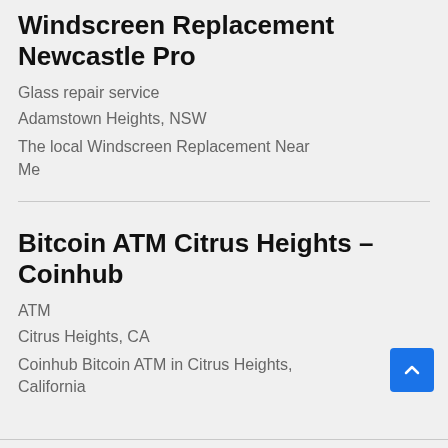Windscreen Replacement Newcastle Pro
Glass repair service
Adamstown Heights, NSW
The local Windscreen Replacement Near Me
Bitcoin ATM Citrus Heights – Coinhub
ATM
Citrus Heights, CA
Coinhub Bitcoin ATM in Citrus Heights, California